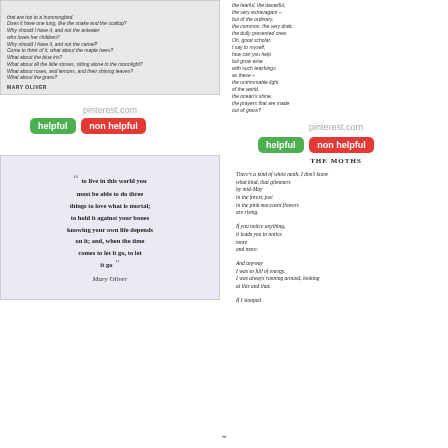[Figure (screenshot): Scanned poem excerpt ending with 'MARY OLIVER' attribution, gray background]
[Figure (screenshot): Poem text on white background about 'the fearful, the deceitful' etc.]
pinterest.com
helpful   non helpful
pinterest.com
helpful   non helpful
[Figure (screenshot): Purple/lavender background quote image: '"to live in this world you must be able to do three things to love what is mortal; to hold it against your bones knowing your own life depends on it; and, when the time comes to let it go, to let it go"  Mary Oliver']
[Figure (screenshot): Poem 'THE MOTHS' by Mary Oliver — text excerpt]
↓